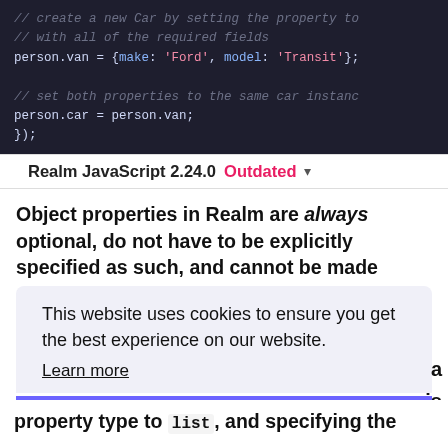[Figure (screenshot): Code block showing JavaScript code with comments and assignments for person.van and person.car properties, dark background with syntax highlighting]
Realm JavaScript 2.24.0  Outdated ▾
Object properties in Realm are always optional, do not have to be explicitly specified as such, and cannot be made required.
This website uses cookies to ensure you get the best experience on our website. Learn more
Got it!
property type to list and specifying the